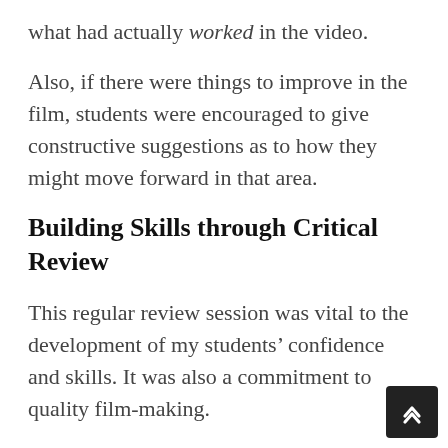what had actually worked in the video.
Also, if there were things to improve in the film, students were encouraged to give constructive suggestions as to how they might move forward in that area.
Building Skills through Critical Review
This regular review session was vital to the development of my students' confidence and skills. It was also a commitment to quality film-making.
Over time, I saw students taking on board the critiques that were made; endeavouring